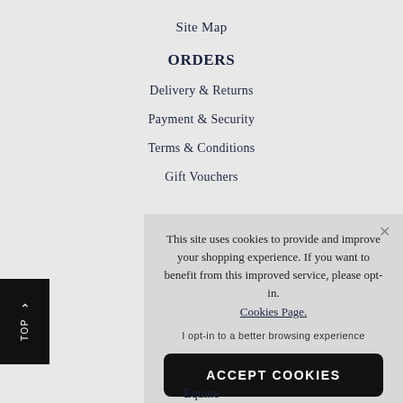Site Map
ORDERS
Delivery & Returns
Payment & Security
Terms & Conditions
Gift Vouchers
This site uses cookies to provide and improve your shopping experience. If you want to benefit from this improved service, please opt-in. Cookies Page.
I opt-in to a better browsing experience
ACCEPT COOKIES
Equine